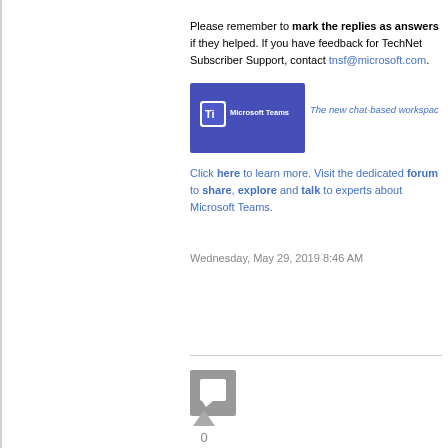Please remember to mark the replies as answers if they helped. If you have feedback for TechNet Subscriber Support, contact tnsf@microsoft.com.
[Figure (illustration): Microsoft Teams banner image showing logo and text 'The new chat-based workspace in O365']
Click here to learn more. Visit the dedicated forum to share, explore and talk to experts about Microsoft Teams.
Wednesday, May 29, 2019 8:46 AM
[Figure (illustration): User avatar placeholder icon (grey square with chat bubble symbol)]
[Figure (illustration): Upvote arrow icon with vote count 0]